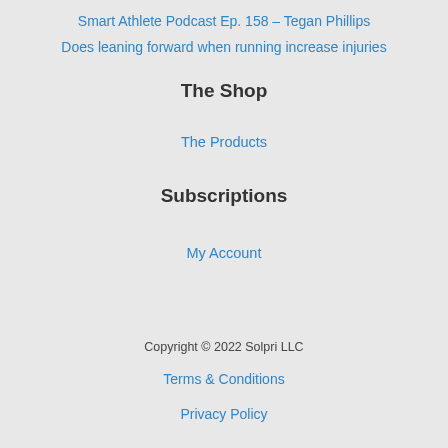Smart Athlete Podcast Ep. 158 – Tegan Phillips
Does leaning forward when running increase injuries
The Shop
The Products
Subscriptions
My Account
Copyright © 2022 Solpri LLC
Terms & Conditions
Privacy Policy